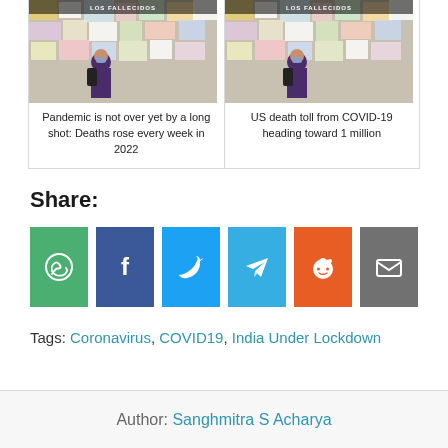[Figure (photo): Photo of a woman in purple dress at a COVID memorial wall with notes and papers]
Pandemic is not over yet by a long shot: Deaths rose every week in 2022
[Figure (photo): Photo of a woman in purple dress at a COVID memorial wall with notes and papers (duplicate)]
US death toll from COVID-19 heading toward 1 million
Share:
[Figure (infographic): Row of social share buttons: WhatsApp, Facebook, Twitter, Telegram, Reddit, Email]
Tags: Coronavirus, COVID19, India Under Lockdown
Author: Sanghmitra S Acharya